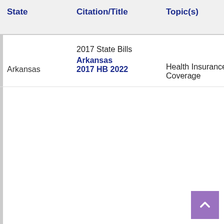| State | Citation/Title | Topic(s) | Bill Sta... |
| --- | --- | --- | --- |
| Arkansas | 2017 State Bills
Arkansas 2017 HB 2022 | Health Insurance Coverage | Ena... |